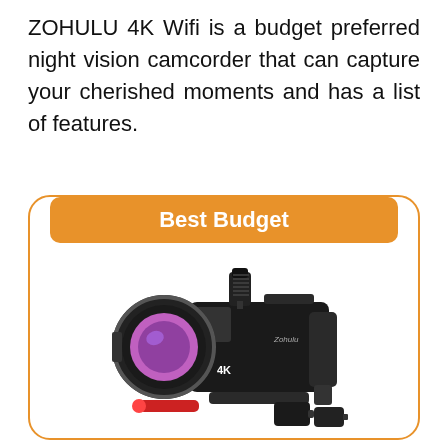ZOHULU 4K Wifi is a budget preferred night vision camcorder that can capture your cherished moments and has a list of features.
[Figure (photo): A card with orange border and rounded corners. Inside: an orange badge reading 'Best Budget' and a photo of a ZOHULU 4K camcorder with wide-angle lens, microphone, red flashlight, and battery accessories.]